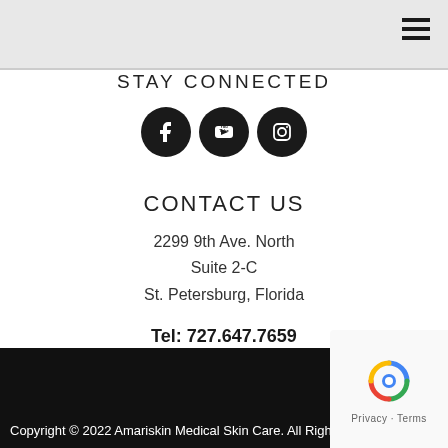STAY CONNECTED
[Figure (illustration): Three social media icons (Facebook, YouTube, Instagram) in black circles]
CONTACT US
2299 9th Ave. North
Suite 2-C
St. Petersburg, Florida
Tel: 727.647.7659
Copyright © 2022 Amariskin Medical Skin Care. All Rights